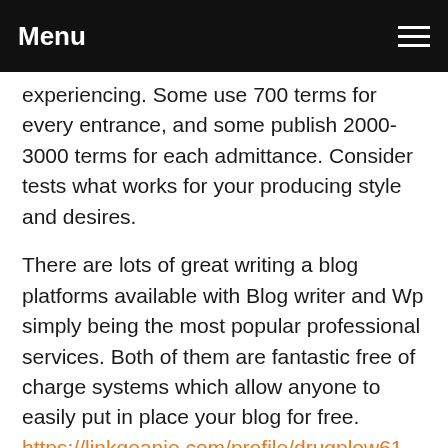Menu
experiencing. Some use 700 terms for every entrance, and some publish 2000-3000 terms for each admittance. Consider tests what works for your producing style and desires.
There are lots of great writing a blog platforms available with Blog writer and Wp simply being the most popular professional services. Both of them are fantastic free of charge systems which allow anyone to easily put in place your blog for free. https://linkgeanie.com/profile/drugplow61 has the main benefit of enabling professional content while with Word press you must upgrade to your premium service to submit professional content. Enable your purpose for operating a blog be your manual when selecting a blogging service.
Involve graphics with your articles. Have you been aware about